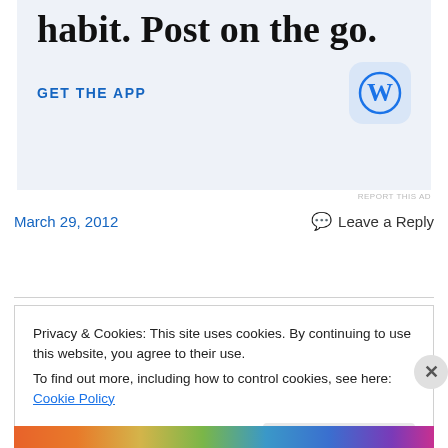[Figure (illustration): WordPress mobile app advertisement banner with light blue background. Shows partial text 'habit. Post on the go.' in large serif font, 'GET THE APP' link in blue, and WordPress app icon (blue W logo on light blue rounded square background).]
REPORT THIS AD
March 29, 2012
Leave a Reply
Privacy & Cookies: This site uses cookies. By continuing to use this website, you agree to their use.
To find out more, including how to control cookies, see here: Cookie Policy
Close and accept